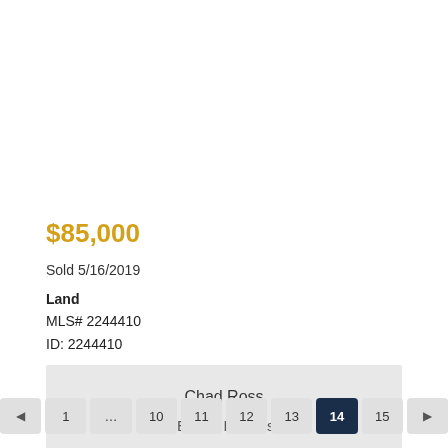$85,000
Sold 5/16/2019
Land
MLS# 2244410
ID: 2244410
Chad Ross
Real Estate Professional
+1 919.876.7411
Email Me
◄ 1 … 10 11 12 13 14 15 ►